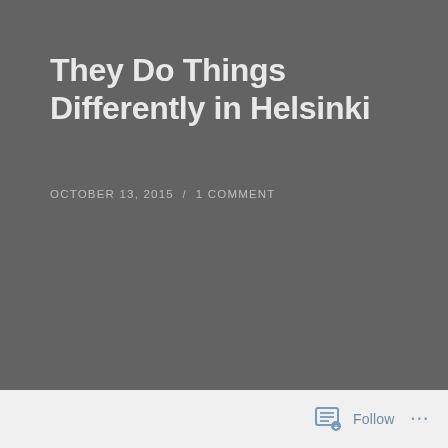They Do Things Differently in Helsinki
OCTOBER 13, 2015  /  1 COMMENT
Follow  ...